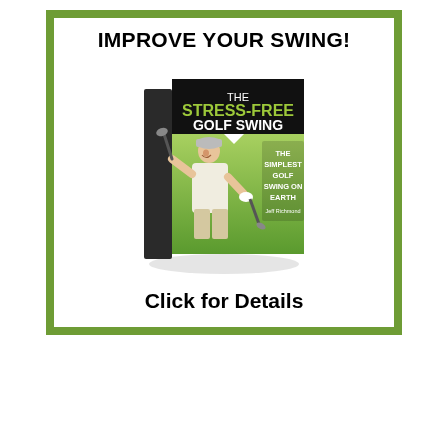[Figure (illustration): Advertisement banner with green border for 'The Stress-Free Golf Swing' book. Contains the headline 'IMPROVE YOUR SWING!', a 3D book cover showing a golfer and the text 'THE STRESS-FREE GOLF SWING - THE SIMPLEST GOLF SWING ON EARTH', and a call-to-action 'Click for Details'.]
IMPROVE YOUR SWING!
Click for Details